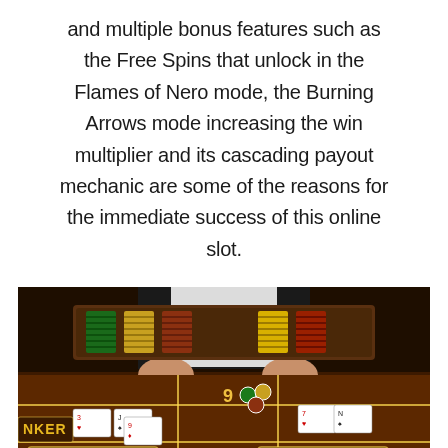and multiple bonus features such as the Free Spins that unlock in the Flames of Nero mode, the Burning Arrows mode increasing the win multiplier and its cascading payout mechanic are some of the reasons for the immediate success of this online slot.
[Figure (photo): A casino baccarat table with a dealer standing behind a chip tray filled with colorful poker chips. Playing cards are laid out on the brown felt table. The table markings show BANKER and PLAYER sections with the numbers 5, 9, and 3 visible. Dice and chips are scattered on the table.]